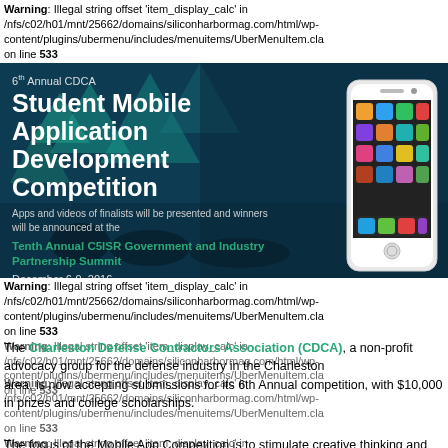Warning: Illegal string offset 'item_display_calc' in /nfs/c02/h01/mnt/25662/domains/siliconharbormag.com/html/wp-content/plugins/ubermenu/includes/menuitems/UberMenuItem.cla on line 533
[Figure (illustration): Banner for 6th Annual CDCA Student Mobile Application Development Competition with teal/dark blue background, geometric triangle patterns, white bold title text, subtitle mentioning Tenth Annual C5ISR Government and Industry Partnership Summit, December 6-9 2016, and a white iPhone on the right side.]
Warning: Illegal string offset 'item_display_calc' in /nfs/c02/h01/mnt/25662/domains/siliconharbormag.com/html/wp-content/plugins/ubermenu/includes/menuitems/UberMenuItem.cla on line 533
The Charleston Defense Contractors Association (CDCA), a non-profit advocacy group for the defense industry in the Charleston
Warning: Illegal string offset 'item_display_calc' in /nfs/c02/h01/mnt/25662/domains/siliconharbormag.com/html/wp-content/plugins/ubermenu/includes/menuitems/UberMenuItem.cla on line 533
area, is now accepting submissions for its 6th Annual competition, with $10,000 in prizes and college scholarships.
Warning: Illegal string offset 'item_display_calc' in /nfs/c02/h01/mnt/25662/domains/siliconharbormag.com/html/wp-content/plugins/ubermenu/includes/menuitems/UberMenuItem.cla on line 533
The focus of the Mobile App Competition is to stimulate creative thinking and promote the entrepreneurial spirit while offering